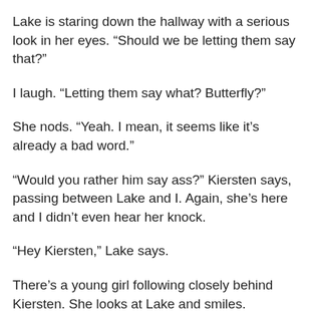Lake is staring down the hallway with a serious look in her eyes. “Should we be letting them say that?”
I laugh. “Letting them say what? Butterfly?”
She nods. “Yeah. I mean, it seems like it’s already a bad word.”
“Would you rather him say ass?” Kiersten says, passing between Lake and I. Again, she’s here and I didn’t even hear her knock.
“Hey Kiersten,” Lake says.
There’s a young girl following closely behind Kiersten. She looks at Lake and smiles.